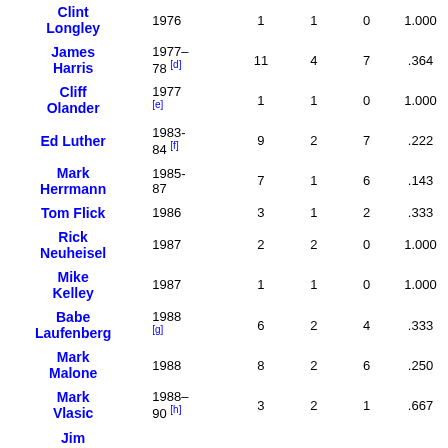| Name | Year(s) | G | W | L | Pct |
| --- | --- | --- | --- | --- | --- |
| Clint Longley | 1976 | 1 | 1 | 0 | 1.000 |
| James Harris | 1977–78 [d] | 11 | 4 | 7 | .364 |
| Cliff Olander | 1977 [e] | 1 | 1 | 0 | 1.000 |
| Ed Luther | 1983-84 [f] | 9 | 2 | 7 | .222 |
| Mark Herrmann | 1985-87 | 7 | 1 | 6 | .143 |
| Tom Flick | 1986 | 3 | 1 | 2 | .333 |
| Rick Neuheisel | 1987 | 2 | 2 | 0 | 1.000 |
| Mike Kelley | 1987 | 1 | 1 | 0 | 1.000 |
| Babe Laufenberg | 1988 [g] | 6 | 2 | 4 | .333 |
| Mark Malone | 1988 | 8 | 2 | 6 | .250 |
| Mark Vlasic | 1988–90 [h] | 3 | 2 | 1 | .667 |
| Jim |  |  |  |  |  |